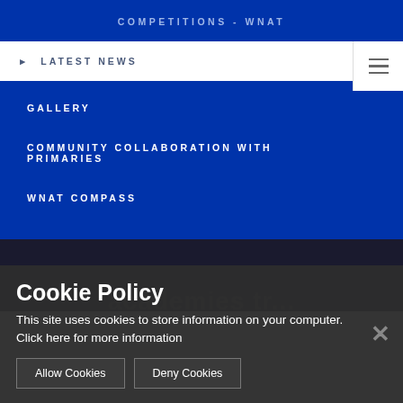COMPETITIONS - WNAT
LATEST NEWS
GALLERY
COMMUNITY COLLABORATION WITH PRIMARIES
WNAT COMPASS
Cookie Policy
This site uses cookies to store information on your computer. Click here for more information
Allow Cookies
Deny Cookies